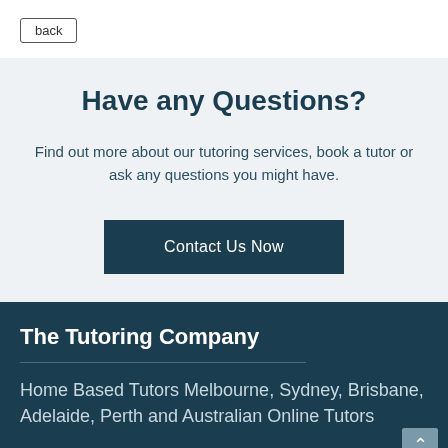back
Have any Questions?
Find out more about our tutoring services, book a tutor or ask any questions you might have.
Contact Us Now
The Tutoring Company
Home Based Tutors Melbourne, Sydney, Brisbane, Adelaide, Perth and Australian Online Tutors